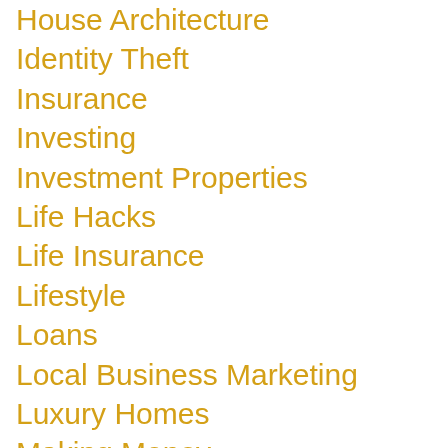House Architecture
Identity Theft
Insurance
Investing
Investment Properties
Life Hacks
Life Insurance
Lifestyle
Loans
Local Business Marketing
Luxury Homes
Making Money
Managing Debts
Money
Money Management